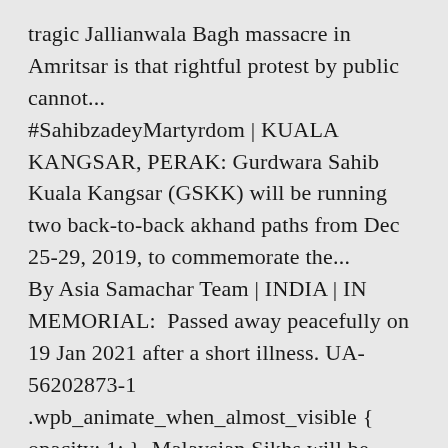tragic Jallianwala Bagh massacre in Amritsar is that rightful protest by public cannot... #SahibzadeyMartyrdom | KUALA KANGSAR, PERAK: Gurdwara Sahib Kuala Kangsar (GSKK) will be running two back-to-back akhand paths from Dec 25-29, 2019, to commemorate the... By Asia Samachar Team | INDIA | IN MEMORIAL:  Passed away peacefully on 19 Jan 2021 after a short illness. UA-56202873-1 .wpb_animate_when_almost_visible { opacity: 1; }. Malaysian Sikhs will be observing the Warrior's Day with a prayer session in Kuala Lumpur on Sunday (30 Aug 2020). US$490k vouchers leads to US$7.9mil direct sales benefits State govt does not believe digitalization, business to middle-class